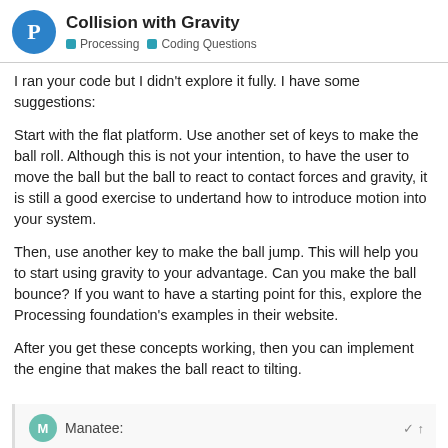Collision with Gravity — Processing | Coding Questions
I ran your code but I didn't explore it fully. I have some suggestions:
Start with the flat platform. Use another set of keys to make the ball roll. Although this is not your intention, to have the user to move the ball but the ball to react to contact forces and gravity, it is still a good exercise to undertand how to introduce motion into your system.
Then, use another key to make the ball jump. This will help you to start using gravity to your advantage. Can you make the ball bounce? If you want to have a starting point for this, explore the Processing foundation's examples in their website.
After you get these concepts working, then you can implement the engine that makes the ball react to tilting.
Manatee:
Im building a mini (Ztupid) game so I can learn some